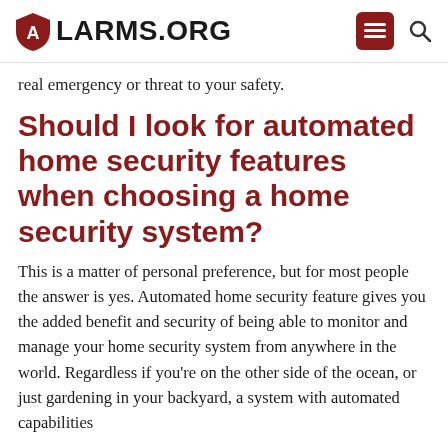ALARMS.ORG
real emergency or threat to your safety.
Should I look for automated home security features when choosing a home security system?
This is a matter of personal preference, but for most people the answer is yes. Automated home security feature gives you the added benefit and security of being able to monitor and manage your home security system from anywhere in the world. Regardless if you're on the other side of the ocean, or just gardening in your backyard, a system with automated capabilities